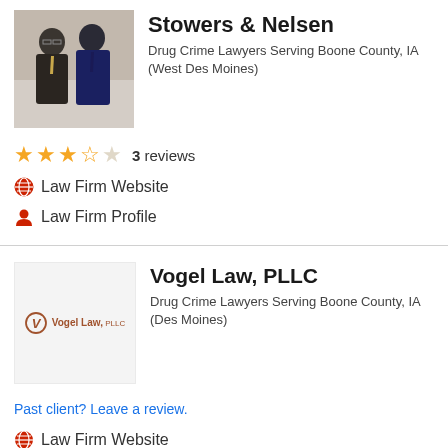[Figure (photo): Photo of two lawyers in suits standing outdoors]
Stowers & Nelsen
Drug Crime Lawyers Serving Boone County, IA (West Des Moines)
3 reviews (3.5 stars out of 5)
Law Firm Website
Law Firm Profile
[Figure (logo): Vogel Law, PLLC logo with circular V icon]
Vogel Law, PLLC
Drug Crime Lawyers Serving Boone County, IA (Des Moines)
Past client? Leave a review.
Law Firm Website